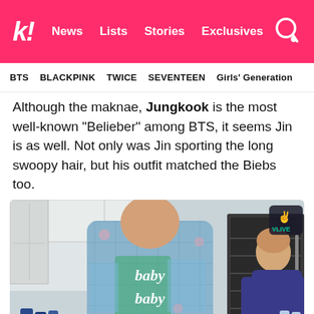k! News | Lists | Stories | Exclusives
BTS | BLACKPINK | TWICE | SEVENTEEN | Girls' Generation
Although the maknae, Jungkook is the most well-known “Belieber” among BTS, it seems Jin is as well. Not only was Jin sporting the long swoopy hair, but his outfit matched the Biebs too.
[Figure (photo): BTS Jin wearing a blue plaid jacket with 'baby baby baby' written on the back, standing at a kitchen counter. Another BTS member visible on the right side near a wine cooler. VLIVE watermark visible in the top right corner.]